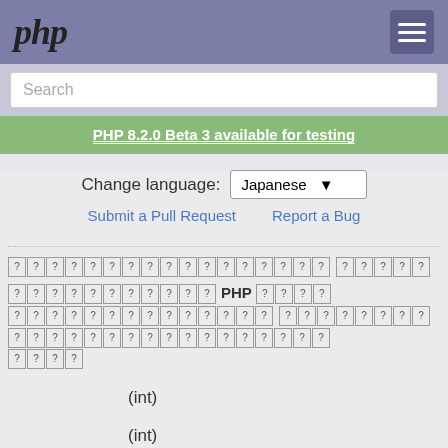php
Search
PHP 8.2.0 Beta 3 available for testing
Change language: Japanese
Submit a Pull Request   Report a Bug
[Japanese characters] PHP [Japanese characters]
(int)
(int)